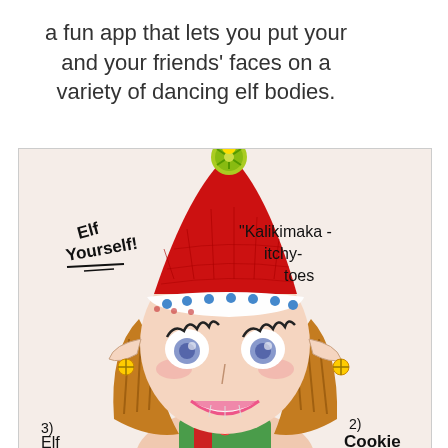a fun app that lets you put your and your friends' faces on a variety of dancing elf bodies.
[Figure (illustration): Hand-drawn illustration of a female elf character wearing a red Christmas hat with green snowflake pompom, brown hair with blue polka dot trim on hat brim, large blue eyes, pink lips showing white teeth, pointed elf ears. Handwritten text on the image reads: 'Elf Yourself!', 'Kalikimaka - itchy- toes', '3) Elf', '2) Cookie']